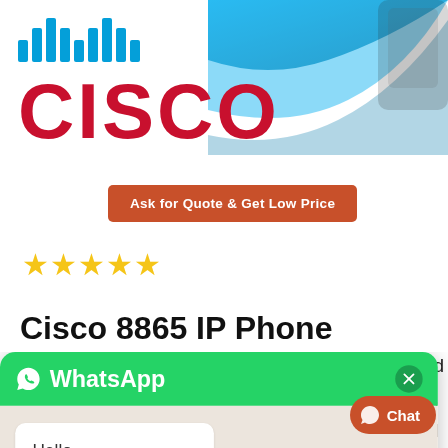[Figure (screenshot): Cisco logo with blue network bars icon above red CISCO text, with blue swoosh wave graphic in top-right background]
[Figure (infographic): Orange rounded rectangle button with white bold text: 'Ask for Quote & Get Low Price']
[Figure (infographic): Five gold star rating icons]
Cisco 8865 IP Phone
[Figure (screenshot): WhatsApp chat widget overlay with green header showing WhatsApp logo and title, close button (X), white chat bubble with 'Hello, How Can I Help You?', and green 'Chat in Whatsapp' button]
[Figure (infographic): Orange-red rounded Chat button fixed in bottom-right corner with chat bubble icon and 'Chat' label]